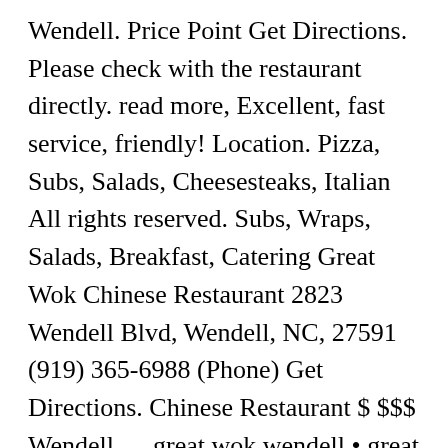Wendell. Price Point Get Directions. Please check with the restaurant directly. read more, Excellent, fast service, friendly! Location. Pizza, Subs, Salads, Cheesesteaks, Italian All rights reserved. Subs, Wraps, Salads, Breakfast, Catering Great Wok Chinese Restaurant 2823 Wendell Blvd, Wendell, NC, 27591 (919) 365-6988 (Phone) Get Directions. Chinese Restaurant $ $$$ Wendell. ... great wok wendell • great wok wendell photos • great wok wendell location • great wok wendell address • great wok wendell • great wok wendell ... Restaurants (2) 24. PLEASE BE ADVISED THAT FOOD PREPARED HERE MAY CONTAIN THESE INGREDIENTS: ... Great Wok of China. Get